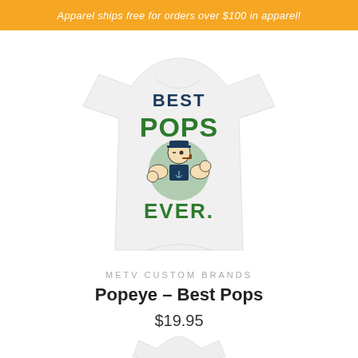Apparel ships free for orders over $100 in apparel!
[Figure (photo): White t-shirt with Popeye the Sailor Man graphic reading 'BEST POPS EVER' in green and navy text]
METV CUSTOM BRANDS
Popeye – Best Pops
$19.95
[Figure (photo): Partial peek of a second product t-shirt at the bottom of the page]